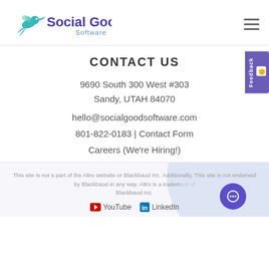[Figure (logo): Social Good Software logo with hummingbird icon in teal/green gradient and purple text]
CONTACT US
9690 South 300 West #303
Sandy, UTAH 84070
hello@socialgoodsoftware.com
801-822-0183 | Contact Form
Careers (We're Hiring!)
This site is not a part of the Altru website or Blackbaud Inc. Additionally, This site is not endorsed by Blackbaud in any way. Altru is a trademark of Blackbaud Inc.
YouTube  LinkedIn